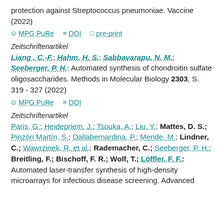protection against Streptococcus pneumoniae. Vaccine (2022)
⊙ MPG.PuRe  ≡ DOI  □ pre-print
Zeitschriftenartikel
Liang , C.-F.; Hahm, H. S.; Sabbavarapu, N. M.; Seeberger, P. H.: Automated synthesis of chondroitin sulfate oligosaccharides. Methods in Molecular Biology 2303, S. 319 - 327 (2022)
⊙ MPG.PuRe  ≡ DOI
Zeitschriftenartikel
Paris, G.; Heidepriem, J.; Tsouka, A.; Liu, Y.; Mattes, D. S.; Pinzón Martín, S.; Dallabernardina, P.; Mende, M.; Lindner, C.; Wawrzinek, R. et al.; Rademacher, C.; Seeberger, P. H.; Breitling, F.; Bischoff, F. R.; Wolf, T.; Löffler, F. F.: Automated laser-transfer synthesis of high-density microarrays for infectious disease screening. Advanced